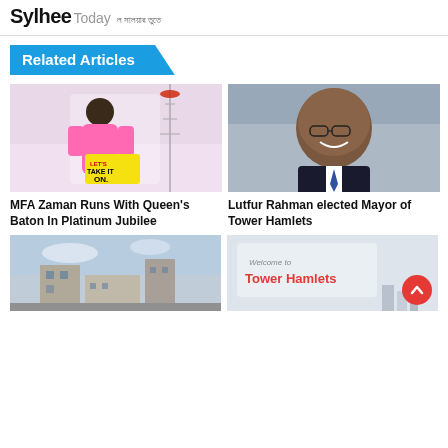Sylhee Today
Related Articles
[Figure (photo): Man in pink athletic wear holding a sign near an Olympic landmark]
MFA Zaman Runs With Queen's Baton In Platinum Jubilee
[Figure (photo): Portrait of Lutfur Rahman smiling in a suit]
Lutfur Rahman elected Mayor of Tower Hamlets
[Figure (photo): Street view of a building]
[Figure (photo): Welcome to Tower Hamlets sign]